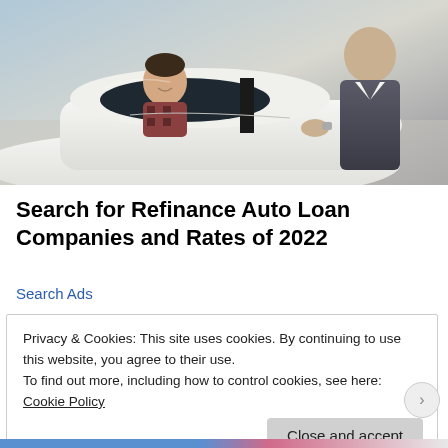[Figure (photo): A man sitting in the driver's seat of a white car, smiling, while another person in a suit jacket leans over the car door from outside, at what appears to be a car dealership.]
Search for Refinance Auto Loan Companies and Rates of 2022
Search Ads
Privacy & Cookies: This site uses cookies. By continuing to use this website, you agree to their use.
To find out more, including how to control cookies, see here: Cookie Policy
Close and accept